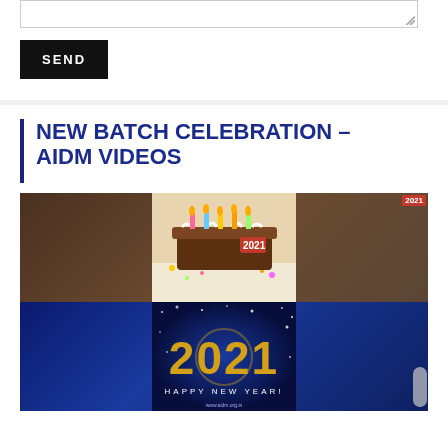[Figure (screenshot): Text area input box with resize handle, partially visible at top of page]
SEND
NEW BATCH CELEBRATION – AIDM VIDEOS
[Figure (screenshot): YouTube video thumbnail showing 'celebration of New Batch 2021 | A...' with AIDM logo, group photo of students, red play button, cake image on right top, and 2021 Happy New Year image on right bottom]